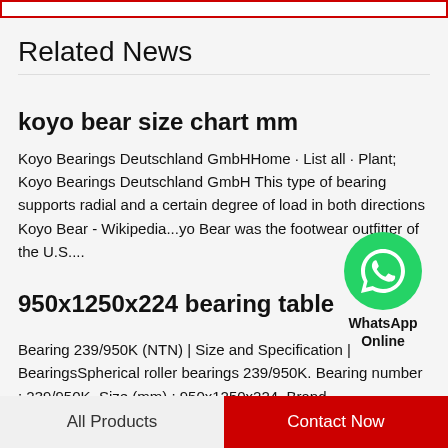Related News
koyo bear size chart mm
Koyo Bearings Deutschland GmbHHome · List all · Plant; Koyo Bearings Deutschland GmbH This type of bearing supports radial and a certain degree of load in both directions  Koyo Bear - Wikipedia...yo Bear was the footwear outfitter of the U.S....
[Figure (logo): WhatsApp Online green circle icon with phone handset symbol, labeled WhatsApp Online]
950x1250x224 bearing table
Bearing 239/950K (NTN) | Size and Specification | BearingsSpherical roller bearings 239/950K. Bearing number : 239/950K. Size (mm) : 950x1250x224. Brand
All Products   Contact Now